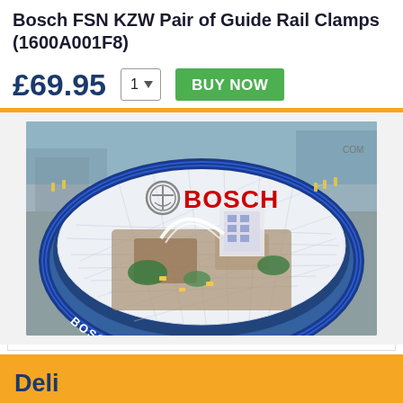Bosch FSN KZW Pair of Guide Rail Clamps (1600A001F8)
£69.95
[Figure (photo): Bosch Professional World promotional image showing an aerial view of a large construction site inside a dome-shaped structure with a geodesic net pattern. The Bosch logo and name are overlaid in red text, and the text 'BOSCH PROFESSIONAL WORLD' appears along the bottom arc of the dome in white letters on a blue background.]
Deli...